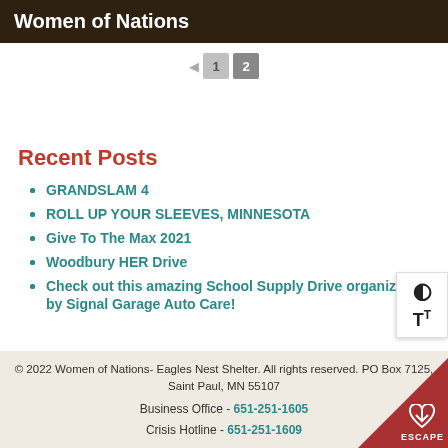Women of Nations
◄ 1 2 (pagination)
Recent Posts
GRANDSLAM 4
ROLL UP YOUR SLEEVES, MINNESOTA
Give To The Max 2021
Woodbury HER Drive
Check out this amazing School Supply Drive organized by Signal Garage Auto Care!
© 2022 Women of Nations- Eagles Nest Shelter. All rights reserved. PO Box 7125, Saint Paul, MN 55107
Business Office - 651-251-1605
Crisis Hotline - 651-251-1609